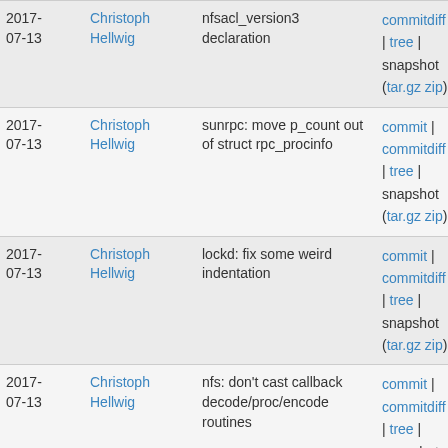| Date | Author | Commit message | Links |
| --- | --- | --- | --- |
| 2017-07-13 | Christoph Hellwig | nfsacl_version3 declaration | commitdiff | tree | snapshot (tar.gz zip) |
| 2017-07-13 | Christoph Hellwig | sunrpc: move p_count out of struct rpc_procinfo | commit | commitdiff | tree | snapshot (tar.gz zip) |
| 2017-07-13 | Christoph Hellwig | lockd: fix some weird indentation | commit | commitdiff | tree | snapshot (tar.gz zip) |
| 2017-07-13 | Christoph Hellwig | nfs: don't cast callback decode/proc/encode routines | commit | commitdiff | tree | snapshot (tar.gz zip) |
| 2017-07-13 | Christoph Hellwig | nfs: fix decoder callback prototypes | commit | commitdiff | tree | snapshot (tar.gz zip) |